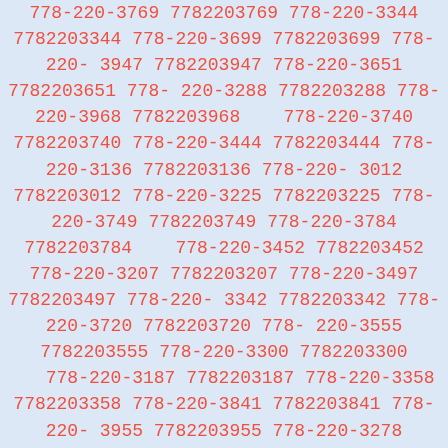778-220-3769 7782203769 778-220-3344 7782203344 778-220-3699 7782203699 778-220-3947 7782203947 778-220-3651 7782203651 778-220-3288 7782203288 778-220-3968 7782203968 778-220-3740 7782203740 778-220-3444 7782203444 778-220-3136 7782203136 778-220-3012 7782203012 778-220-3225 7782203225 778-220-3749 7782203749 778-220-3784 7782203784 778-220-3452 7782203452 778-220-3207 7782203207 778-220-3497 7782203497 778-220-3342 7782203342 778-220-3720 7782203720 778-220-3555 7782203555 778-220-3300 7782203300 778-220-3187 7782203187 778-220-3358 7782203358 778-220-3841 7782203841 778-220-3955 7782203955 778-220-3278 7782203278 778-220-3243 7782203243 778-220-3095 7782203095 778-220-3844 7782203844 778-220-3679 7782203679 778-220-3499 7782203499 778-220-3837 7782203837 778-220-3644 7782203644 778-220-3623 7782203623 778-220-3946 7782203946 778-220-3131 7782203131 778-220-3943 7782203943 778-220-3509 7782203509 778-220-3527 7782203527 778-220-3040 7782203040 778-220-3730 7782203730 778-220-3811 7782203811 778-220-3871 7782203871 778-220-3065 7782203065 778-220-3418 7782203418 778-220-